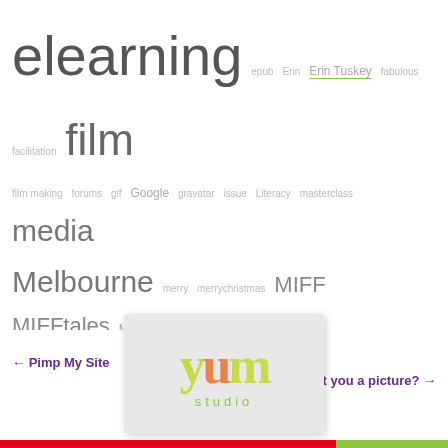[Figure (other): Tag cloud with various topic words in different sizes, including elearning, film, Melbourne, Music, screen, training, Yum, socialmedia, etc.]
← Pimp My Site
blog watch #7: must i paint you a picture? →
[Figure (logo): Yum Studio logo with colorful text on light gray folded card background]